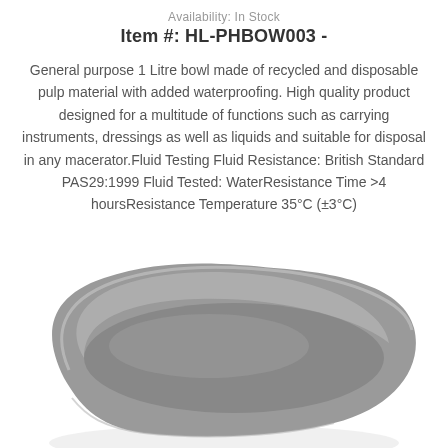Availability: In Stock
Item #: HL-PHBOW003 -
General purpose 1 Litre bowl made of recycled and disposable pulp material with added waterproofing. High quality product designed for a multitude of functions such as carrying instruments, dressings as well as liquids and suitable for disposal in any macerator.Fluid Testing Fluid Resistance: British Standard PAS29:1999 Fluid Tested: WaterResistance Time >4 hoursResistance Temperature 35°C (±3°C)
[Figure (photo): Grey disposable pulp bowl (kidney dish shape) shown from a top-angle view against a white background]